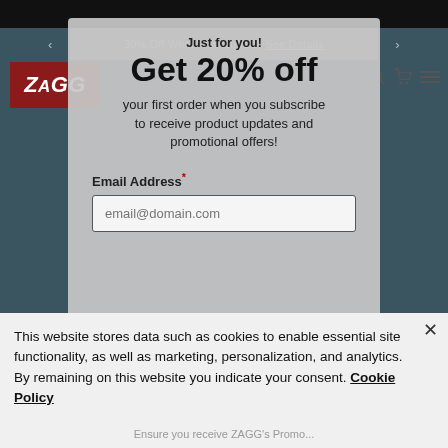[Figure (screenshot): ZAGG website screenshot background with dark teal color and top navigation bar]
30% Off When You Bundle See Details
[Figure (logo): ZAGG logo - white italic text on dark red background]
Just for you!
Get 20% off
your first order when you subscribe to receive product updates and promotional offers!
Email Address*
email@domain.com
This website stores data such as cookies to enable essential site functionality, as well as marketing, personalization, and analytics. By remaining on this website you indicate your consent. Cookie Policy